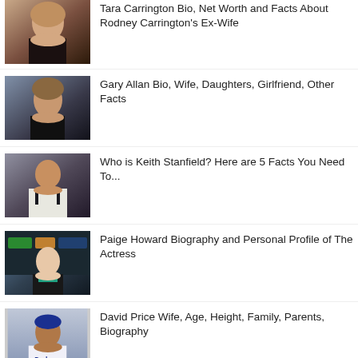Tara Carrington Bio, Net Worth and Facts About Rodney Carrington's Ex-Wife
Gary Allan Bio, Wife, Daughters, Girlfriend, Other Facts
Who is Keith Stanfield? Here are 5 Facts You Need To...
Paige Howard Biography and Personal Profile of The Actress
David Price Wife, Age, Height, Family, Parents, Biography